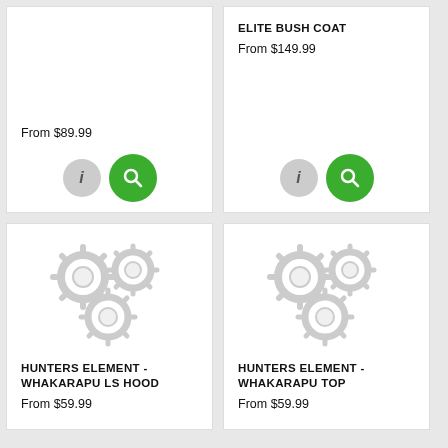From $89.99
ELITE BUSH COAT
From $149.99
[Figure (illustration): Three interlocked grey gear icons (placeholder product image)]
HUNTERS ELEMENT - WHAKARAPU LS HOOD
From $59.99
[Figure (illustration): Three interlocked grey gear icons (placeholder product image)]
HUNTERS ELEMENT - WHAKARAPU TOP
From $59.99